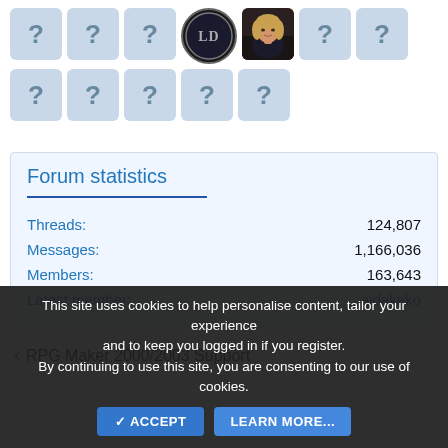[Figure (screenshot): Grid of user avatar thumbnails: two rows. Row 1: 7 cells — 3 question mark placeholders, one dark circular LD logo avatar, one photo of a blonde woman, 2 more question mark placeholders. Row 2: 5 question mark placeholders.]
Forum statistics
| Label | Value |
| --- | --- |
| Threads: | 124,807 |
| Messages: | 1,166,036 |
| Members: | 163,643 |
| Latest member: | aidakako |
< RPG Maker 2000/2003 Support
This site uses cookies to help personalise content, tailor your experience and to keep you logged in if you register.
By continuing to use this site, you are consenting to our use of cookies.
✓ ACCEPT   LEARN MORE...